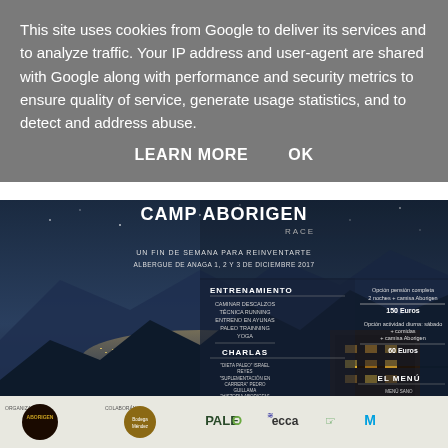This site uses cookies from Google to deliver its services and to analyze traffic. Your IP address and user-agent are shared with Google along with performance and security metrics to ensure quality of service, generate usage statistics, and to detect and address abuse.
LEARN MORE   OK
[Figure (photo): Camp Aborigen Race poster showing a mountain landscape at dusk/night with event details: UN FIN DE SEMANA PARA REINVENTARTE, ALBERGUE DE ANAGA 1, 2 Y 3 DE DICIEMBRE 2017. Sections for ENTRENAMIENTO (Caminar descalzos, Técnica running, Entreno en ayunas, Paleo trainning, Yoga), CHARLAS (Dieta Paleo Israel Reyes, Suplementación en carrera Pedro Guillama, Historia Aborigen Universidad, Paleo trainning Airán Fernández, Pi Aborigen descalzo y la tarona Isidoro Boba Ramos, Mindfulness Yuliya Melianiouk), EL MENÚ (Menú sano, Aprender a cocinar con el chef José, Un plato vegano con Yulia, Prueba de productos ZiGeo, Animación y sorpresas). Pricing info: Opción pensión completa 2 noches + camisa Aborigen 150 Euros; Opción actividad diurna: sábado + comidas + camisa Aborigen 60 Euros. TRES CARRERAS niveles 1,2,3 Run Experience. Bottom logos: Organiza Aborigen, Colaboran: Bodega, Méndez, Paleo, Ecca, Movistar]